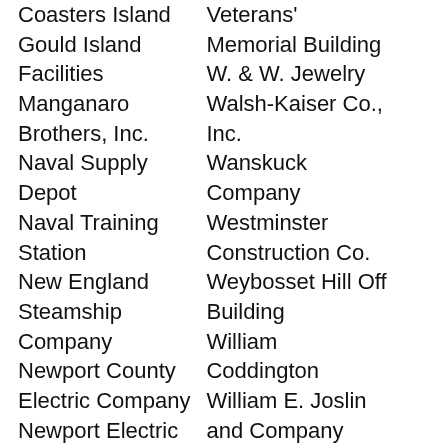Coasters Island
Gould Island Facilities
Manganaro Brothers, Inc.
Naval Supply Depot
Naval Training Station
New England Steamship Company
Newport County Electric Company
Newport Electric Corporation
Newport Gas Company
Newport Naval Base
Veterans' Memorial Building
W. & W. Jewelry
Walsh-Kaiser Co., Inc.
Wanskuck Company
Westminster Construction Co.
Weybosset Hill Off Building
William Coddington
William E. Joslin and Company
William Grosvenor
Quidnick
Quidnick Manufacturing